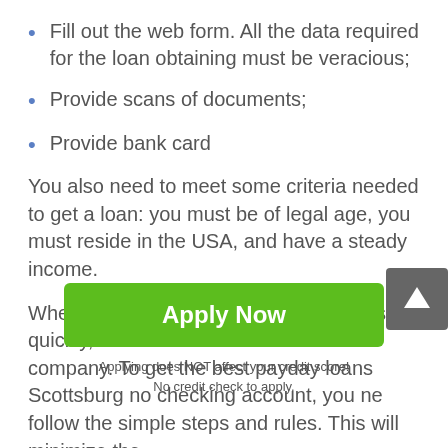Fill out the web form. All the data required for the loan obtaining must be veracious;
Provide scans of documents;
Provide bank card
You also need to meet some criteria needed to get a loan: you must be of legal age, you must reside in the USA, and have a steady income.
When you need to resolve a financial issue quickly, it's better to contact the credit company. To get the best payday loans Scottsburg no checking account, you ne follow the simple steps and rules. This will minimize the
[Figure (other): Green Apply Now button]
Applying does NOT affect your credit score!
No credit check to apply.